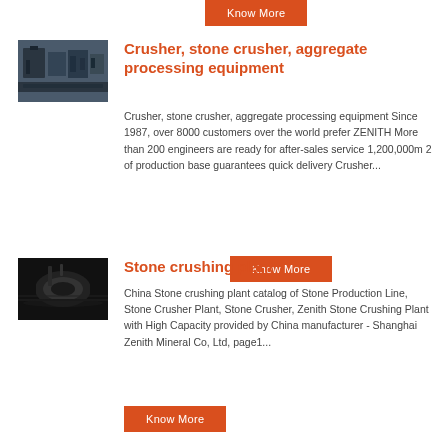Know More (button at top)
[Figure (photo): Industrial crusher machinery equipment photo]
Crusher, stone crusher, aggregate processing equipment
Crusher, stone crusher, aggregate processing equipment Since 1987, over 8000 customers over the world prefer ZENITH More than 200 engineers are ready for after-sales service 1,200,000m 2 of production base guarantees quick delivery Crusher...
Know More
[Figure (photo): Stone crushing plant machinery with cylindrical components on surface]
Stone crushing plant
China Stone crushing plant catalog of Stone Production Line, Stone Crusher Plant, Stone Crusher, Zenith Stone Crushing Plant with High Capacity provided by China manufacturer - Shanghai Zenith Mineral Co, Ltd, page1...
Know More